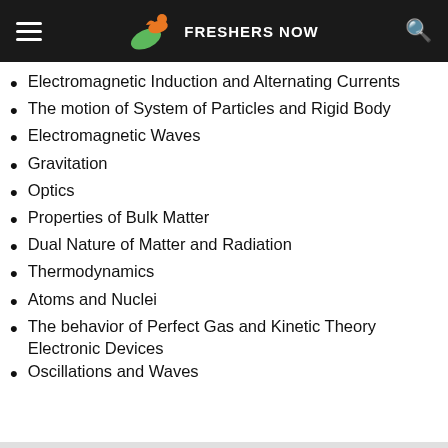FRESHERS NOW
Electromagnetic Induction and Alternating Currents
The motion of System of Particles and Rigid Body
Electromagnetic Waves
Gravitation
Optics
Properties of Bulk Matter
Dual Nature of Matter and Radiation
Thermodynamics
Atoms and Nuclei
The behavior of Perfect Gas and Kinetic Theory Electronic Devices
Oscillations and Waves